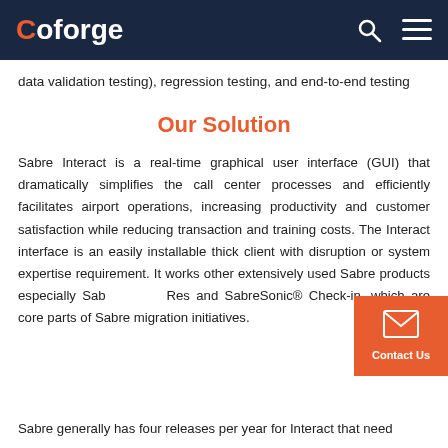Coforge
data validation testing), regression testing, and end-to-end testing
Our Solution
Sabre Interact is a real-time graphical user interface (GUI) that dramatically simplifies the call center processes and efficiently facilitates airport operations, increasing productivity and customer satisfaction while reducing transaction and training costs. The Interact interface is an easily installable thick client with disruption or system expertise requirement. It works other extensively used Sabre products especially SabreSonic® Res and SabreSonic® Check-in, which are core parts of Sabre migration initiatives.
Sabre generally has four releases per year for Interact that need